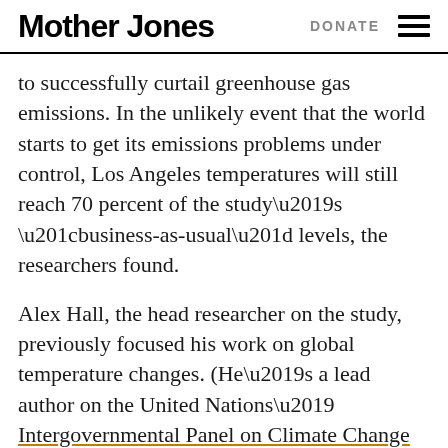Mother Jones | DONATE
to successfully curtail greenhouse gas emissions. In the unlikely event that the world starts to get its emissions problems under control, Los Angeles temperatures will still reach 70 percent of the study’s “business-as-usual” levels, the researchers found.
Alex Hall, the head researcher on the study, previously focused his work on global temperature changes. (He’s a lead author on the United Nations’ Intergovernmental Panel on Climate Change reports.) He was surprised to discover just how much temperature change many Los Angelenos could see during their lifetimes. “It was very eye-